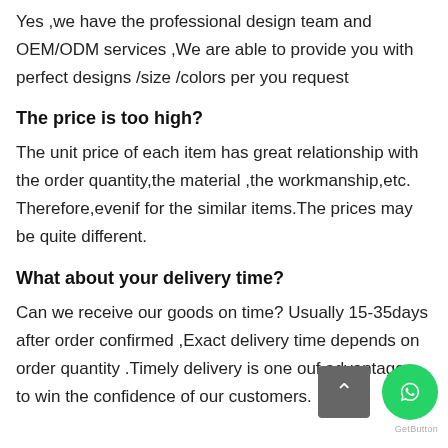Yes ,we have the professional design team and OEM/ODM services ,We are able to provide you with perfect designs /size /colors per you request
The price is too high?
The unit price of each item has great relationship with the order quantity,the material ,the workmanship,etc. Therefore,evenif for the similar items.The prices may be quite different.
What about your delivery time?
Can we receive our goods on time? Usually 15-35days after order confirmed ,Exact delivery time depends on order quantity .Timely delivery is one ouf advantages to win the confidence of our customers.